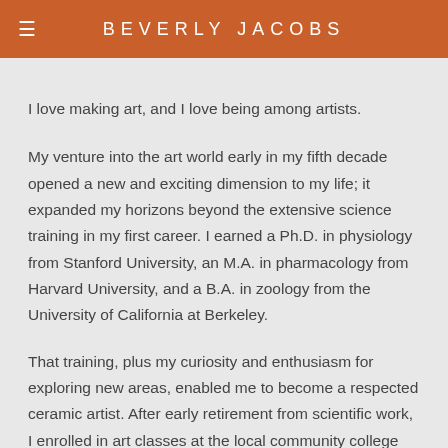BEVERLY JACOBS
I love making art, and I love being among artists.
My venture into the art world early in my fifth decade opened a new and exciting dimension to my life; it expanded my horizons beyond the extensive science training in my first career. I earned a Ph.D. in physiology from Stanford University, an M.A. in pharmacology from Harvard University, and a B.A. in zoology from the University of California at Berkeley.
That training, plus my curiosity and enthusiasm for exploring new areas, enabled me to become a respected ceramic artist. After early retirement from scientific work, I enrolled in art classes at the local community college and was drawn to ceramics. Through classroom